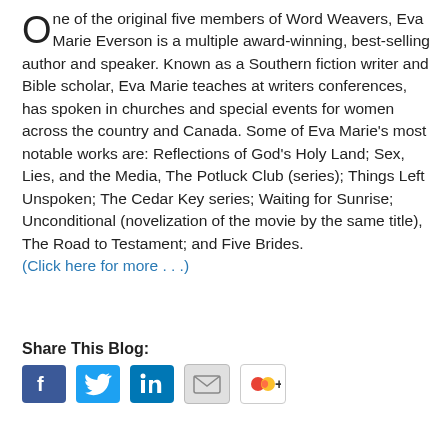One of the original five members of Word Weavers, Eva Marie Everson is a multiple award-winning, best-selling author and speaker. Known as a Southern fiction writer and Bible scholar, Eva Marie teaches at writers conferences, has spoken in churches and special events for women across the country and Canada. Some of Eva Marie's most notable works are: Reflections of God's Holy Land; Sex, Lies, and the Media, The Potluck Club (series); Things Left Unspoken; The Cedar Key series; Waiting for Sunrise; Unconditional (novelization of the movie by the same title), The Road to Testament; and Five Brides. (Click here for more . . .)
Share This Blog:
[Figure (other): Row of social media sharing icons: Facebook, Twitter, LinkedIn, Email, Google+]